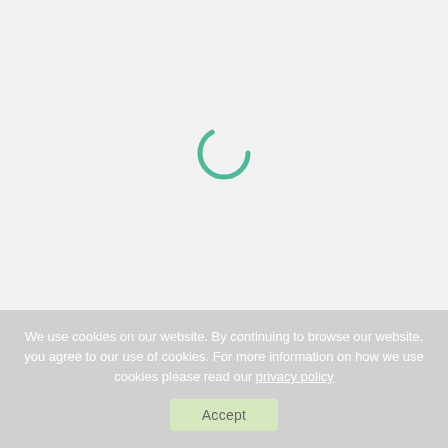[Figure (other): Loading spinner — a teal/green circular ring indicating page loading state, centered in a light gray background area.]
We use cookies on our website. By continuing to browse our website, you agree to our use of cookies. For more information on how we use cookies please read our privacy policy
Accept